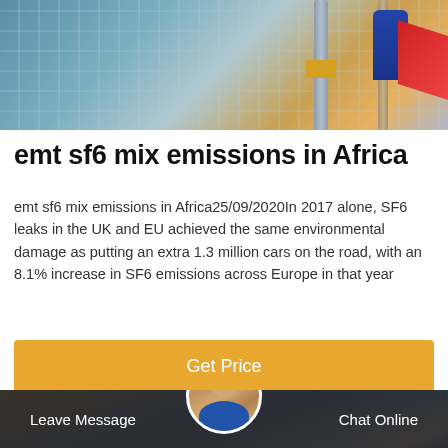[Figure (photo): Industrial scene showing cranes, poles, and a worker in blue uniform with red element, viewed from below]
emt sf6 mix emissions in Africa
emt sf6 mix emissions in Africa25/09/2020In 2017 alone, SF6 leaks in the UK and EU achieved the same environmental damage as putting an extra 1.3 million cars on the road, with an 8.1% increase in SF6 emissions across Europe in that year
[Figure (other): Get Price button (orange/amber colored call-to-action button)]
[Figure (photo): Power transmission towers and electrical grid infrastructure photo with customer service representative avatar and bottom navigation bar showing Leave Message and Chat Online options]